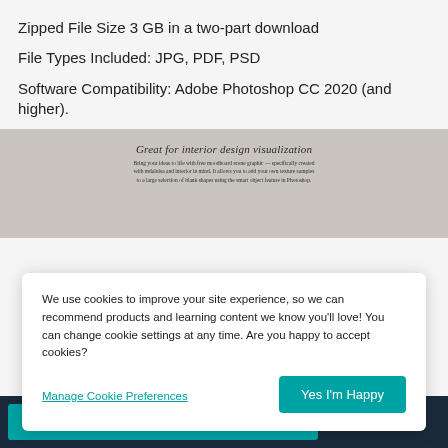Zipped File Size 3 GB in a two-part download
File Types Included: JPG, PDF, PSD
Software Compatibility: Adobe Photoshop CC 2020 (and higher).
[Figure (screenshot): Preview image with gray background showing text: 'Great for interior design visualization' with descriptive body text below in serif italic font.]
We use cookies to improve your site experience, so we can recommend products and learning content we know you'll love! You can change cookie settings at any time. Are you happy to accept cookies?
Manage Cookie Preferences
Yes I'm Happy